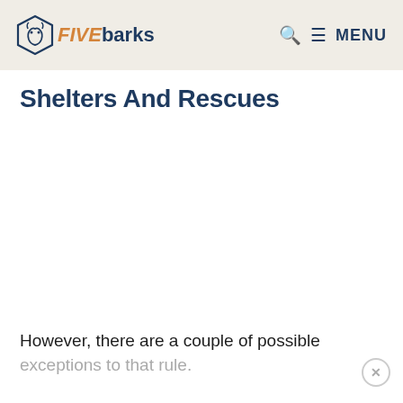FIVEbarks — Q MENU
Shelters And Rescues
However, there are a couple of possible exceptions to that rule.